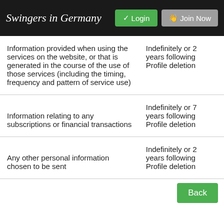Swingers in Germany  ✓ Login  🖐 Join Now
| Information type | Retention period |
| --- | --- |
| Information provided when using the services on the website, or that is generated in the course of the use of those services (including the timing, frequency and pattern of service use) | Indefinitely or 2 years following Profile deletion |
| Information relating to any subscriptions or financial transactions | Indefinitely or 7 years following Profile deletion |
| Any other personal information chosen to be sent | Indefinitely or 2 years following Profile deletion |